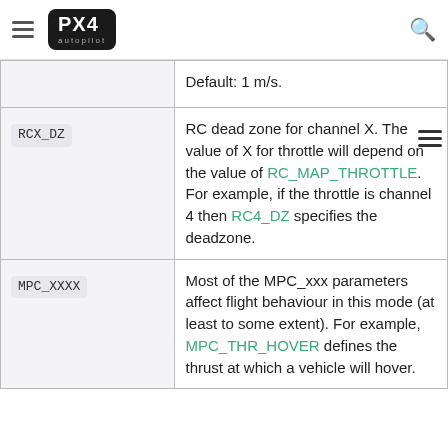PX4 Autopilot
| Parameter | Description |
| --- | --- |
|  | Default: 1 m/s. |
| RCX_DZ | RC dead zone for channel X. The value of X for throttle will depend on the value of RC_MAP_THROTTLE. For example, if the throttle is channel 4 then RC4_DZ specifies the deadzone. |
| MPC_XXXX | Most of the MPC_xxx parameters affect flight behaviour in this mode (at least to some extent). For example, MPC_THR_HOVER defines the thrust at which a vehicle will hover. |